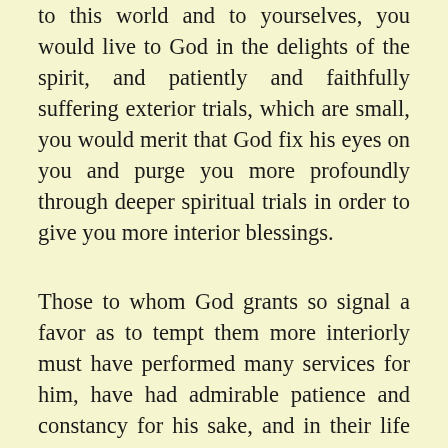to this world and to yourselves, you would live to God in the delights of the spirit, and patiently and faithfully suffering exterior trials, which are small, you would merit that God fix his eyes on you and purge you more profoundly through deeper spiritual trials in order to give you more interior blessings.
Those to whom God grants so signal a favor as to tempt them more interiorly must have performed many services for him, have had admirable patience and constancy for his sake, and in their life and works have been very acceptable to